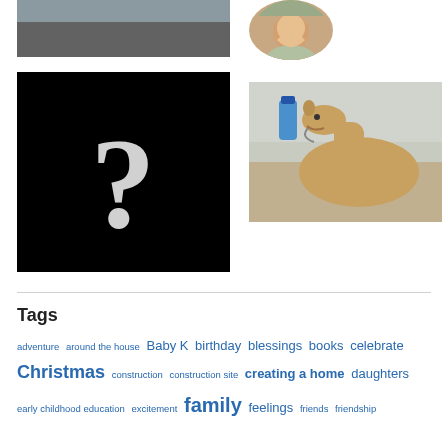[Figure (photo): A road stretching into the distance, grey asphalt, wide angle shot]
[Figure (photo): A circular portrait photo of a woman smiling, wearing a green scarf and hat]
[Figure (photo): A black background with a large white question mark in the center]
[Figure (photo): A camel drinking from a plastic water bottle, desert/snowy background]
Tags
adventure around the house Baby K birthday blessings books celebrate Christmas construction construction site creating a home daughters early childhood education excitement family feelings friends friendship